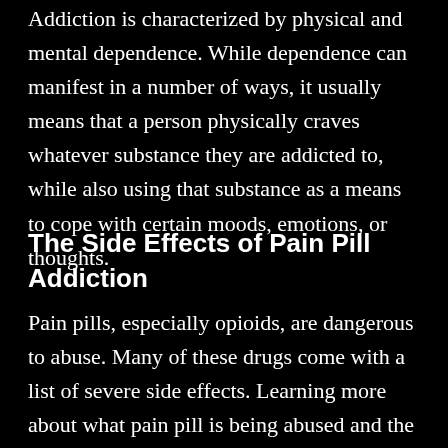Addiction is characterized by physical and mental dependence. While dependence can manifest in a number of ways, it usually means that a person physically craves whatever substance they are addicted to, while also using that substance as a means to cope with certain moods, emotions, or thoughts.
The Side Effects of Pain Pill Addiction
Pain pills, especially opioids, are dangerous to abuse. Many of these drugs come with a list of severe side effects. Learning more about what pain pill is being abused and the potential side effects can help steer a conversation on pain pill addiction toward the importance of treatment and